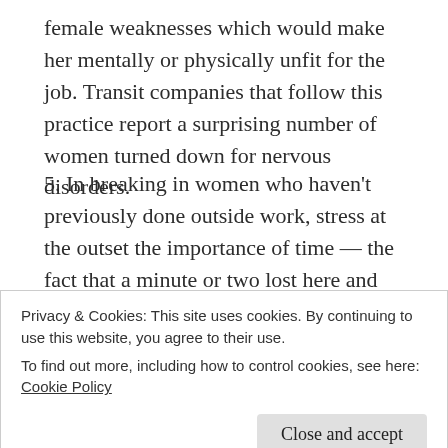female weaknesses which would make her mentally or physically unfit for the job. Transit companies that follow this practice report a surprising number of women turned down for nervous disorders.
5. In breaking in women who haven't previously done outside work, stress at the outset the importance of time — the fact that a minute or two lost here and there makes serious inroads on schedules. Until this point is gotten across, service is likely to be slowed up.
Privacy & Cookies: This site uses cookies. By continuing to use this website, you agree to their use. To find out more, including how to control cookies, see here: Cookie Policy
minutes. Numerous properties say that